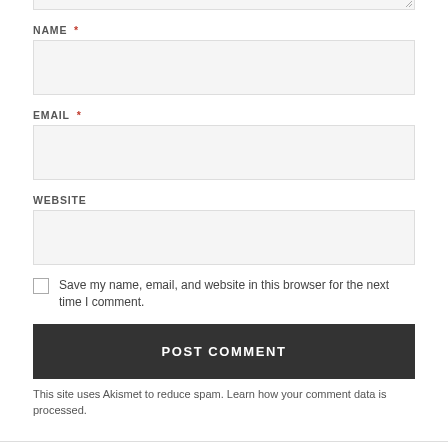[Figure (screenshot): Textarea input box (top, partially visible) with resize handle]
NAME *
[Figure (screenshot): Name input field box]
EMAIL *
[Figure (screenshot): Email input field box]
WEBSITE
[Figure (screenshot): Website input field box]
Save my name, email, and website in this browser for the next time I comment.
POST COMMENT
This site uses Akismet to reduce spam. Learn how your comment data is processed.
PREVIOUS